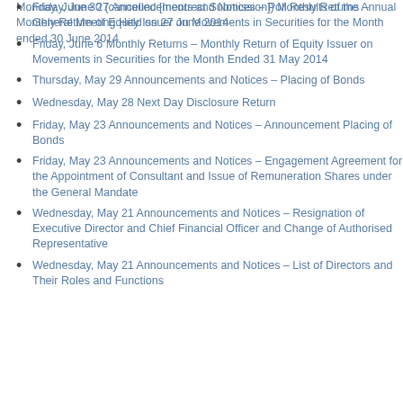Monday, June 30 (cancelled [Incorrect Submission]) Monthly Returns – Monthly Return of Equity Issuer on Movements in Securities for the Month ended 30 June 2014
Friday, June 27 Announcements and Notices – Poll Results of the Annual General Meeting Held on 27 June 2014
Friday, June 6 Monthly Returns – Monthly Return of Equity Issuer on Movements in Securities for the Month Ended 31 May 2014
Thursday, May 29 Announcements and Notices – Placing of Bonds
Wednesday, May 28 Next Day Disclosure Return
Friday, May 23 Announcements and Notices – Announcement Placing of Bonds
Friday, May 23 Announcements and Notices – Engagement Agreement for the Appointment of Consultant and Issue of Remuneration Shares under the General Mandate
Wednesday, May 21 Announcements and Notices – Resignation of Executive Director and Chief Financial Officer and Change of Authorised Representative
Wednesday, May 21 Announcements and Notices – List of Directors and Their Roles and Functions